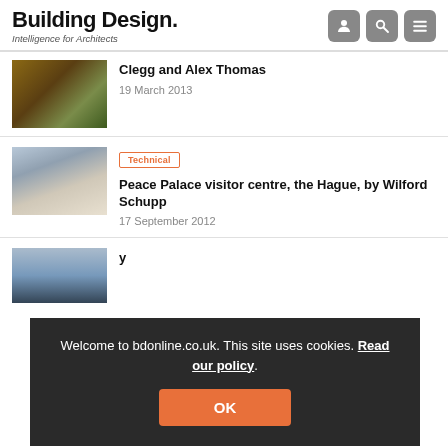Building Design. Intelligence for Architects
Clegg and Alex Thomas
19 March 2013
Technical
Peace Palace visitor centre, the Hague, by Wilford Schupp
17 September 2012
Welcome to bdonline.co.uk. This site uses cookies. Read our policy.